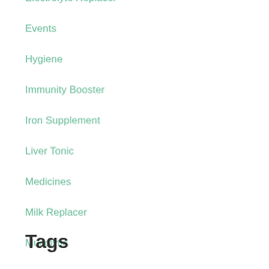Electrolyte Replacer
Events
Hygiene
Immunity Booster
Iron Supplement
Liver Tonic
Medicines
Milk Replacer
Mucolytic
NEWS
Performance Enhancer
PRODUCTS
Vitamins
Tags